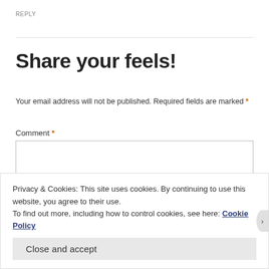REPLY
Share your feels!
Your email address will not be published. Required fields are marked *
Comment *
Privacy & Cookies: This site uses cookies. By continuing to use this website, you agree to their use.
To find out more, including how to control cookies, see here: Cookie Policy
Close and accept